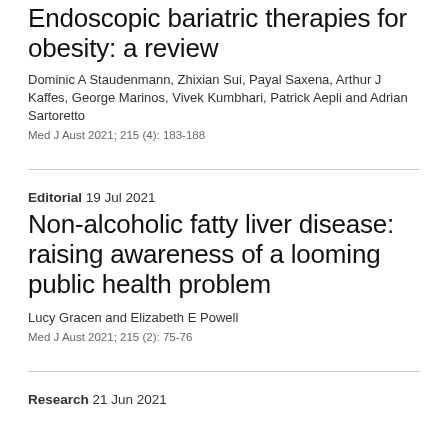Endoscopic bariatric therapies for obesity: a review
Dominic A Staudenmann, Zhixian Sui, Payal Saxena, Arthur J Kaffes, George Marinos, Vivek Kumbhari, Patrick Aepli and Adrian Sartoretto
Med J Aust 2021; 215 (4): 183-188
Editorial 19 Jul 2021
Non-alcoholic fatty liver disease: raising awareness of a looming public health problem
Lucy Gracen and Elizabeth E Powell
Med J Aust 2021; 215 (2): 75-76
Research 21 Jun 2021